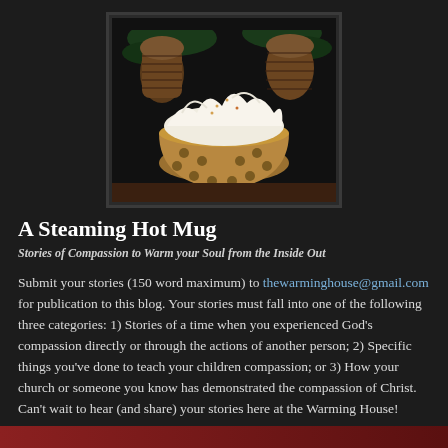[Figure (photo): A bowl or mug with whipped cream on top, surrounded by pine cones in a dark background setting.]
A Steaming Hot Mug
Stories of Compassion to Warm your Soul from the Inside Out
Submit your stories (150 word maximum) to thewarminghouse@gmail.com for publication to this blog. Your stories must fall into one of the following three categories: 1) Stories of a time when you experienced God’s compassion directly or through the actions of another person; 2) Specific things you’ve done to teach your children compassion; or 3) How your church or someone you know has demonstrated the compassion of Christ. Can’t wait to hear (and share) your stories here at the Warming House!